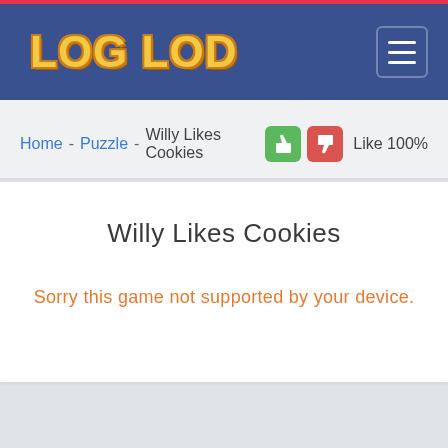LOG LOD
Home - Puzzle - Willy Likes Cookies  Like 100%
Willy Likes Cookies
Sorry this game not supported by your device.